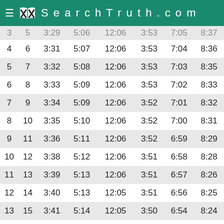SearchTruth.com
| 3 | 5 | 3:29 | 5:06 | 12:06 | 3:53 | 7:05 | 8:37 |
| 4 | 6 | 3:31 | 5:07 | 12:06 | 3:53 | 7:04 | 8:36 |
| 5 | 7 | 3:32 | 5:08 | 12:06 | 3:53 | 7:03 | 8:35 |
| 6 | 8 | 3:33 | 5:09 | 12:06 | 3:53 | 7:02 | 8:33 |
| 7 | 9 | 3:34 | 5:09 | 12:06 | 3:52 | 7:01 | 8:32 |
| 8 | 10 | 3:35 | 5:10 | 12:06 | 3:52 | 7:00 | 8:31 |
| 9 | 11 | 3:36 | 5:11 | 12:06 | 3:52 | 6:59 | 8:29 |
| 10 | 12 | 3:38 | 5:12 | 12:06 | 3:51 | 6:58 | 8:28 |
| 11 | 13 | 3:39 | 5:13 | 12:06 | 3:51 | 6:57 | 8:26 |
| 12 | 14 | 3:40 | 5:13 | 12:05 | 3:51 | 6:56 | 8:25 |
| 13 | 15 | 3:41 | 5:14 | 12:05 | 3:50 | 6:54 | 8:24 |